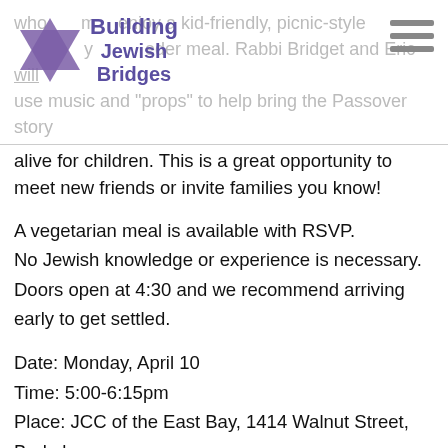Building Jewish Bridges
whole family enjoy a kid-friendly, picnic-style ceremony and Seder meal. Rabbi Bridget and Eric will use music and "props" to help bring the Passover story alive for children. This is a great opportunity to meet new friends or invite families you know!
A vegetarian meal is available with RSVP.
No Jewish knowledge or experience is necessary.
Doors open at 4:30 and we recommend arriving early to get settled.
Date: Monday, April 10
Time: 5:00-6:15pm
Place: JCC of the East Bay, 1414 Walnut Street, Berkeley
Cost: $15 child (ages 2-13) / $30 adult (ages 14+)